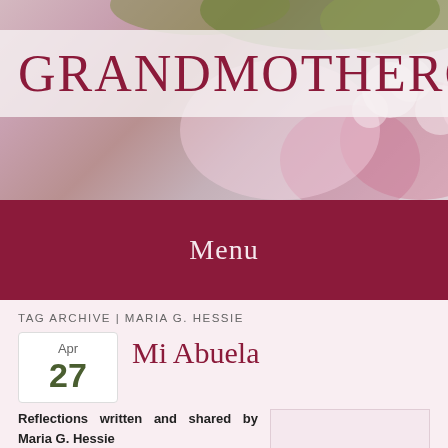GRANDMOTHERGAR
Menu
TAG ARCHIVE | MARIA G. HESSIE
Apr 27
Mi Abuela
Reflections written and shared by Maria G. Hessie
I would like to talk about one of my experiences